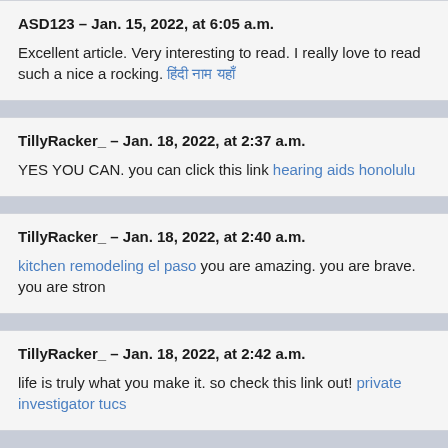ASD123 – Jan. 15, 2022, at 6:05 a.m.
Excellent article. Very interesting to read. I really love to read such a nice article. rocking. [link text in non-latin script]
TillyRacker_ – Jan. 18, 2022, at 2:37 a.m.
YES YOU CAN. you can click this link hearing aids honolulu
TillyRacker_ – Jan. 18, 2022, at 2:40 a.m.
kitchen remodeling el paso you are amazing. you are brave. you are strong
TillyRacker_ – Jan. 18, 2022, at 2:42 a.m.
life is truly what you make it. so check this link out! private investigator tucs